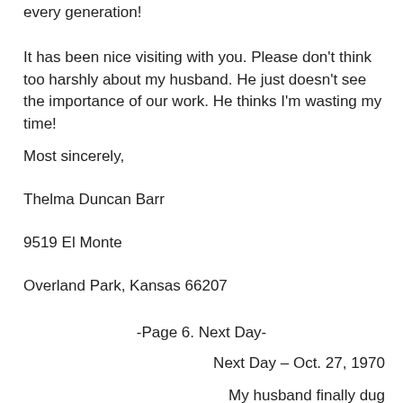every generation!
It has been nice visiting with you. Please don't think too harshly about my husband. He just doesn't see the importance of our work. He thinks I'm wasting my time!
Most sincerely,
Thelma Duncan Barr
9519 El Monte
Overland Park, Kansas 66207
-Page 6. Next Day-
Next Day – Oct. 27, 1970
My husband finally dug